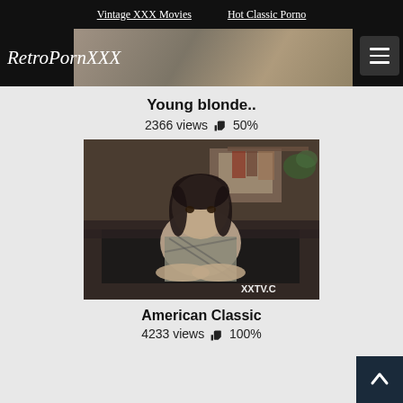Vintage XXX Movies   Hot Classic Porno
RetroPornXXX
Young blonde..
2366 views 👍 50%
[Figure (screenshot): Video thumbnail showing a young woman with dark hair leaning on her arms, wearing a patterned shirt, seated in what appears to be an office or living room setting. Watermark reads XXTV.C in bottom right corner.]
American Classic
4233 views 👍 100%